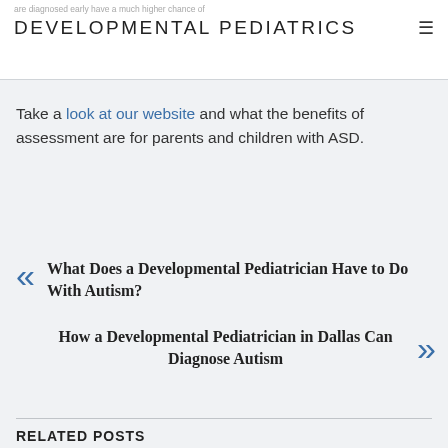are diagnosed early have a much higher chance of ... DEVELOPMENTAL PEDIATRICS
Take a look at our website and what the benefits of assessment are for parents and children with ASD.
« What Does a Developmental Pediatrician Have to Do With Autism?
How a Developmental Pediatrician in Dallas Can Diagnose Autism »
RELATED POSTS